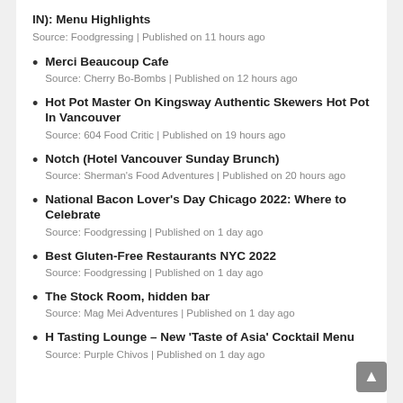IN): Menu Highlights
Source: Foodgressing | Published on 11 hours ago
Merci Beaucoup Cafe
Source: Cherry Bo-Bombs | Published on 12 hours ago
Hot Pot Master On Kingsway Authentic Skewers Hot Pot In Vancouver
Source: 604 Food Critic | Published on 19 hours ago
Notch (Hotel Vancouver Sunday Brunch)
Source: Sherman's Food Adventures | Published on 20 hours ago
National Bacon Lover's Day Chicago 2022: Where to Celebrate
Source: Foodgressing | Published on 1 day ago
Best Gluten-Free Restaurants NYC 2022
Source: Foodgressing | Published on 1 day ago
The Stock Room, hidden bar
Source: Mag Mei Adventures | Published on 1 day ago
H Tasting Lounge – New 'Taste of Asia' Cocktail Menu
Source: Purple Chivos | Published on 1 day ago